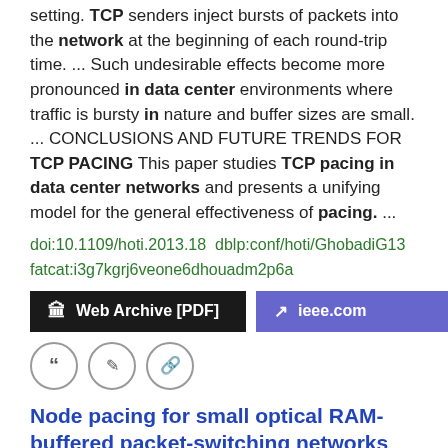setting. TCP senders inject bursts of packets into the network at the beginning of each round-trip time.  ...  Such undesirable effects become more pronounced in data center environments where traffic is bursty in nature and buffer sizes are small.  ...  CONCLUSIONS AND FUTURE TRENDS FOR TCP PACING This paper studies TCP pacing in data center networks and presents a unifying model for the general effectiveness of pacing.  ...
doi:10.1109/hoti.2013.18  dblp:conf/hoti/GhobadiG13
fatcat:i3g7kgrj6veone6dhouadm2p6a
[Figure (other): Two buttons: 'Web Archive [PDF]' (dark/black background) and 'ieee.com' (purple background)]
[Figure (other): Three icon buttons in circles: quote, edit, and link icons]
Node pacing for small optical RAM-buffered packet-switching networks
Onur Alparslan, Shin'ichi Arakawa, Masayuki Murata
2011 Photonic network communications
One of the difficulties with optical packet switched (OPS) networks is buffering optical packets in the network.  ...  However, the burstiness of Internet traffic causes high packet drop rates and low utilization in very small buffered OPS networks.  ...  different